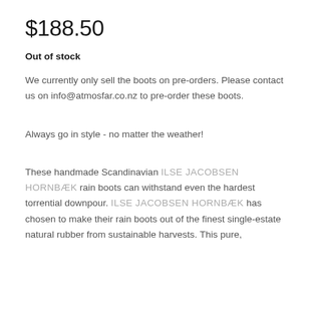$188.50
Out of stock
We currently only sell the boots on pre-orders. Please contact us on info@atmosfar.co.nz to pre-order these boots.
Always go in style - no matter the weather!
These handmade Scandinavian ILSE JACOBSEN HORNBÆK rain boots can withstand even the hardest torrential downpour. ILSE JACOBSEN HORNBÆK has chosen to make their rain boots out of the finest single-estate natural rubber from sustainable harvests. This pure,